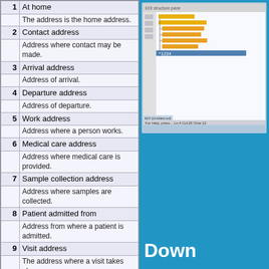| # | Address Type / Description |
| --- | --- |
| 1 | At home |
|  | The address is the home address. |
| 2 | Contact address |
|  | Address where contact may be made. |
| 3 | Arrival address |
|  | Address of arrival. |
| 4 | Departure address |
|  | Address of departure. |
| 5 | Work address |
|  | Address where a person works. |
| 6 | Medical care address |
|  | Address where medical care is provided. |
| 7 | Sample collection address |
|  | Address where samples are collected. |
| 8 | Patient admitted from |
|  | Address from where a patient is admitted. |
| 9 | Visit address |
|  | The address where a visit takes place. |
| 10 | Patient discharged to |
|  | Address to where a patient is discharged. |
[Figure (screenshot): Screenshot of an EDI structure pane software interface showing a tree/list view with orange and blue highlighted code lines.]
Down